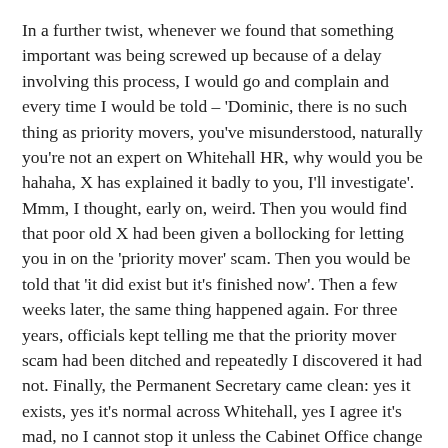In a further twist, whenever we found that something important was being screwed up because of a delay involving this process, I would go and complain and every time I would be told – 'Dominic, there is no such thing as priority movers, you've misunderstood, naturally you're not an expert on Whitehall HR, why would you be hahaha, X has explained it badly to you, I'll investigate'. Mmm, I thought, early on, weird. Then you would find that poor old X had been given a bollocking for letting you in on the 'priority mover' scam. Then you would be told that 'it did exist but it's finished now'. Then a few weeks later, the same thing happened again. For three years, officials kept telling me that the priority mover scam had been ditched and repeatedly I discovered it had not. Finally, the Permanent Secretary came clean: yes it exists, yes it's normal across Whitehall, yes I agree it's mad, no I cannot stop it unless the Cabinet Office change HR rules Whitehall-wide. And this was the bottom line on all Whitehall HR. Everybody knows that Cameron hasn't the faintest interest in fighting over such issues, not least because he doesn't